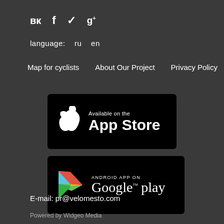вк  f  ✓  g+
language:   ru   en
Map for cyclists   About Our Project   Privacy Policy
[Figure (logo): App Store badge — black rectangle with Apple logo and text 'Available on the App Store']
[Figure (logo): Google Play badge — black rectangle with Google Play triangle logo and text 'ANDROID APP ON Google play']
E-mail: pr@velomesto.com
Powered by Widgeo Media